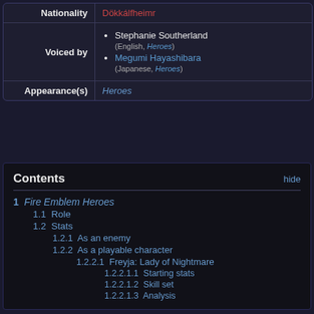| Field | Value |
| --- | --- |
| Nationality | Dökkálfheimr |
| Voiced by | Stephanie Southerland (English, Heroes)
Megumi Hayashibara (Japanese, Heroes) |
| Appearance(s) | Heroes |
Contents
1 Fire Emblem Heroes
1.1 Role
1.2 Stats
1.2.1 As an enemy
1.2.2 As a playable character
1.2.2.1 Freyja: Lady of Nightmare
1.2.2.1.1 Starting stats
1.2.2.1.2 Skill set
1.2.2.1.3 Analysis